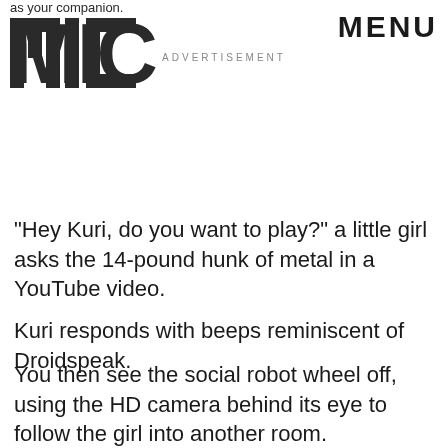as your companion.
[Figure (logo): MIC logo in large bold black letters]
MENU
ADVERTISEMENT
"Hey Kuri, do you want to play?" a little girl asks the 14-pound hunk of metal in a YouTube video.
Kuri responds with beeps reminiscent of Droidspeak.
You then see the social robot wheel off, using the HD camera behind its eye to follow the girl into another room.